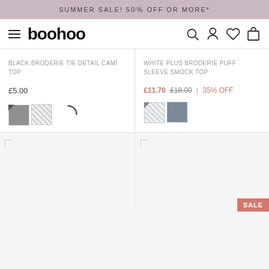SUMMER SALE! 50% OFF OR MORE*
[Figure (logo): boohoo logo with hamburger menu and navigation icons (search, user, wishlist, bag)]
BLACK BRODERIE TIE DETAIL CAMI TOP
£5.00
[Figure (other): Color swatches: gray and pattern/white]
WHITE PLUS BRODERIE PUFF SLEEVE SMOCK TOP
£11.70  £18.00  |  35% OFF
[Figure (other): Color swatches: white/pattern and slate gray, with loading spinner]
[Figure (photo): Left product image placeholder (broken/loading)]
[Figure (photo): Right product image placeholder (broken/loading) with SALE badge]